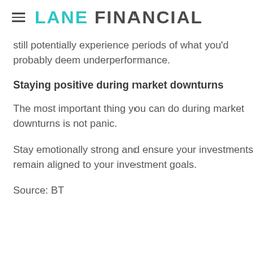LANE FINANCIAL
still potentially experience periods of what you'd probably deem underperformance.
Staying positive during market downturns
The most important thing you can do during market downturns is not panic.
Stay emotionally strong and ensure your investments remain aligned to your investment goals.
Source: BT